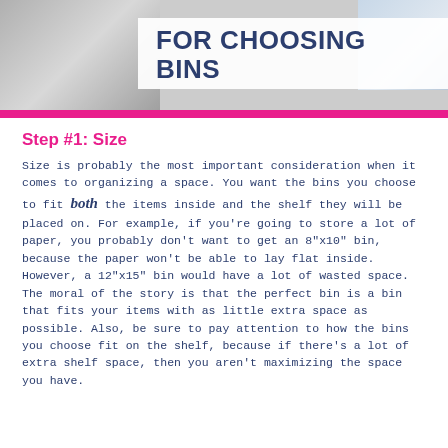[Figure (photo): Banner image with a woman wearing a necklace on the left side and craft/organizing supplies on the right, with overlaid text 'FOR CHOOSING BINS' in bold dark blue on a white background with a pink stripe at the bottom]
Step #1: Size
Size is probably the most important consideration when it comes to organizing a space. You want the bins you choose to fit both the items inside and the shelf they will be placed on. For example, if you're going to store a lot of paper, you probably don't want to get an 8"x10" bin, because the paper won't be able to lay flat inside. However, a 12"x15" bin would have a lot of wasted space. The moral of the story is that the perfect bin is a bin that fits your items with as little extra space as possible. Also, be sure to pay attention to how the bins you choose fit on the shelf, because if there's a lot of extra shelf space, then you aren't maximizing the space you have.